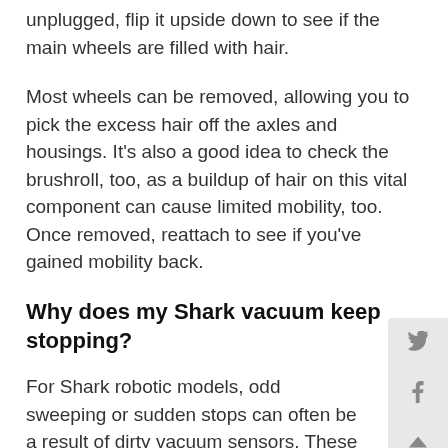unplugged, flip it upside down to see if the main wheels are filled with hair.
Most wheels can be removed, allowing you to pick the excess hair off the axles and housings. It's also a good idea to check the brushroll, too, as a buildup of hair on this vital component can cause limited mobility, too. Once removed, reattach to see if you've gained mobility back.
Why does my Shark vacuum keep stopping?
For Shark robotic models, odd sweeping or sudden stops can often be a result of dirty vacuum sensors. These sensors can often be found on the bottom and sides of the vacuum. Hitting them with a soft cloth